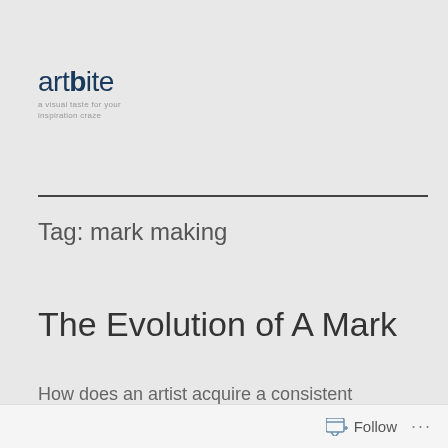artbite – a visual taste for your inspiration craze
Tag: mark making
The Evolution of A Mark
How does an artist acquire a consistent style or voice? In this post, I trace how
Follow ...